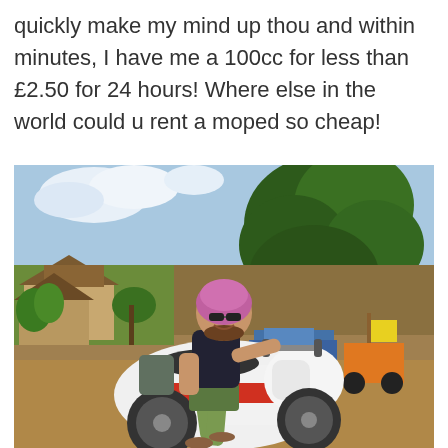quickly make my mind up thou and within minutes, I have me a 100cc for less than £2.50 for 24 hours! Where else in the world could u rent a moped so cheap!
[Figure (photo): A woman wearing a pink helmet and sunglasses sitting on a white and red 100cc moped/scooter, smiling at the camera. Background shows a rural Southeast Asian setting with thatched-roof buildings, large trees, dirt ground, and other motorcycles and a blue vehicle parked nearby.]